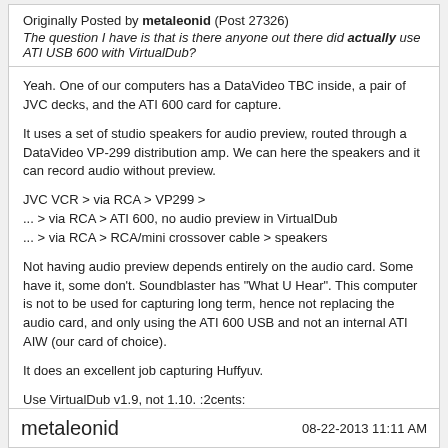Originally Posted by metaleonid (Post 27326)
The question I have is that is there anyone out there did actually use ATI USB 600 with VirtualDub?
Yeah. One of our computers has a DataVideo TBC inside, a pair of JVC decks, and the ATI 600 card for capture.

It uses a set of studio speakers for audio preview, routed through a DataVideo VP-299 distribution amp. We can here the speakers and it can record audio without preview.

JVC VCR > via RCA > VP299 >
... > via RCA > ATI 600, no audio preview in VirtualDub
... > via RCA > RCA/mini crossover cable > speakers

Not having audio preview depends entirely on the audio card. Some have it, some don't. Soundblaster has "What U Hear". This computer is not to be used for capturing long term, hence not replacing the audio card, and only using the ATI 600 USB and not an internal ATI AIW (our card of choice).

It does an excellent job capturing Huffyuv.

Use VirtualDub v1.9, not 1.10. :2cents:
metaleonid   08-22-2013 11:11 AM